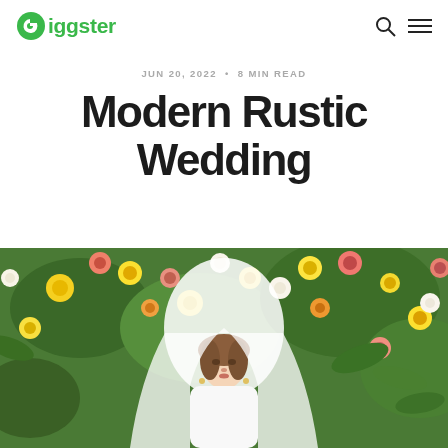Giggster
JUN 20, 2022 • 8 MIN READ
Modern Rustic Wedding
[Figure (photo): A bride wearing a white veil posing in front of a lush green floral wall decorated with colorful flowers including yellow, pink, white, and orange roses and blooms.]